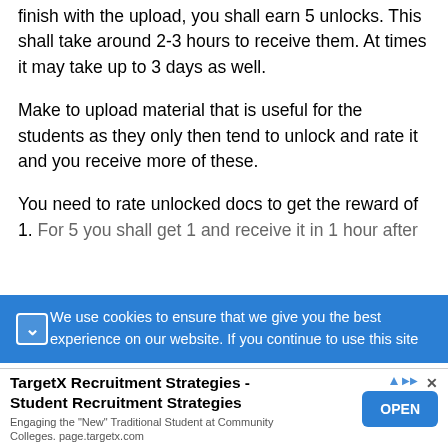finish with the upload, you shall earn 5 unlocks. This shall take around 2-3 hours to receive them. At times it may take up to 3 days as well.
Make to upload material that is useful for the students as they only then tend to unlock and rate it and you receive more of these.
You need to rate unlocked docs to get the reward of 1. For 5 you shall get 1 and receive it in 1 hour after
We use cookies to ensure that we give you the best experience on our website. If you continue to use this site
TargetX Recruitment Strategies - Student Recruitment Strategies
Engaging the "New" Traditional Student at Community Colleges. page.targetx.com